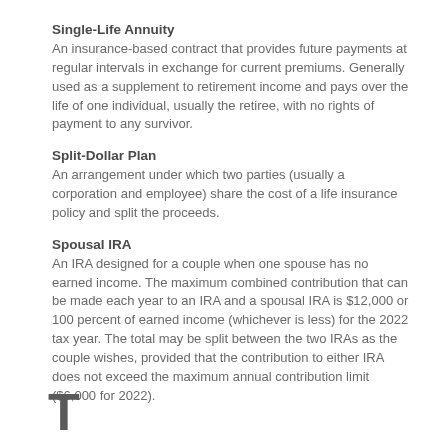Single-Life Annuity
An insurance-based contract that provides future payments at regular intervals in exchange for current premiums. Generally used as a supplement to retirement income and pays over the life of one individual, usually the retiree, with no rights of payment to any survivor.
Split-Dollar Plan
An arrangement under which two parties (usually a corporation and employee) share the cost of a life insurance policy and split the proceeds.
Spousal IRA
An IRA designed for a couple when one spouse has no earned income. The maximum combined contribution that can be made each year to an IRA and a spousal IRA is $12,000 or 100 percent of earned income (whichever is less) for the 2022 tax year. The total may be split between the two IRAs as the couple wishes, provided that the contribution to either IRA does not exceed the maximum annual contribution limit ($6,000 for 2022).
T